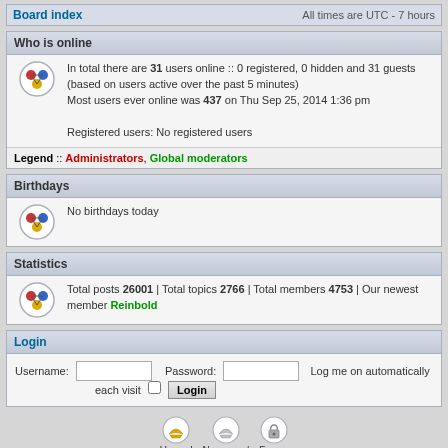Board index   All times are UTC - 7 hours
Who is online
In total there are 31 users online :: 0 registered, 0 hidden and 31 guests (based on users active over the past 5 minutes)
Most users ever online was 437 on Thu Sep 25, 2014 1:36 pm

Registered users: No registered users
Legend :: Administrators, Global moderators
Birthdays
No birthdays today
Statistics
Total posts 26001 | Total topics 2766 | Total members 4753 | Our newest member Reinbold
Login
Username:  Password:  Log me on automatically each visit  Login
Unread posts  No unread posts  Forum locked  Powered by phpBB® Forum Software © phpBB Group